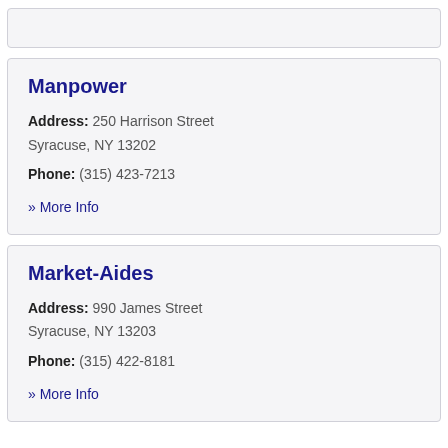[Partial card above — stub]
Manpower
Address: 250 Harrison Street Syracuse, NY 13202
Phone: (315) 423-7213
» More Info
Market-Aides
Address: 990 James Street Syracuse, NY 13203
Phone: (315) 422-8181
» More Info